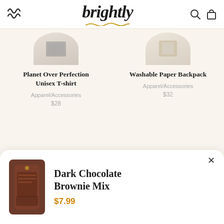brightly
[Figure (photo): Circular product image - Planet Over Perfection Unisex T-shirt]
Planet Over Perfection Unisex T-shirt
Apparel/Accessories
$28
[Figure (photo): Circular product image - Washable Paper Backpack]
Washable Paper Backpack
Apparel/Accessories
$32
SHOP ALL GOODIES →
[Figure (photo): Dark Chocolate Brownie Mix product bag image]
Dark Chocolate Brownie Mix
$7.99